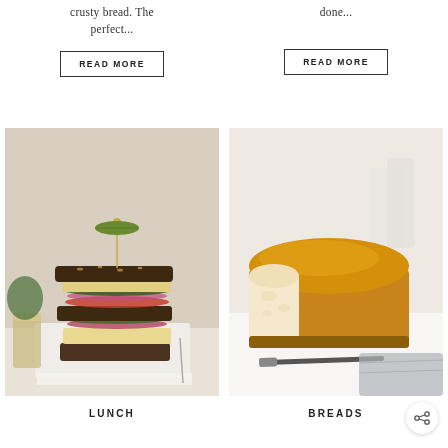crusty bread. The perfect...
done...
READ MORE
READ MORE
[Figure (photo): A tall stacked sandwich with layers of greens, red onions, tomatoes, egg salad on dark seeded bread, garnished with a pickle on a toothpick, served on a marble board with a glass of juice and greenery in the background.]
[Figure (photo): A golden-brown milk bread loaf with a slice cut to reveal the soft white interior, placed on a white surface with a dark knife and a grey cloth nearby.]
LUNCH
BREADS